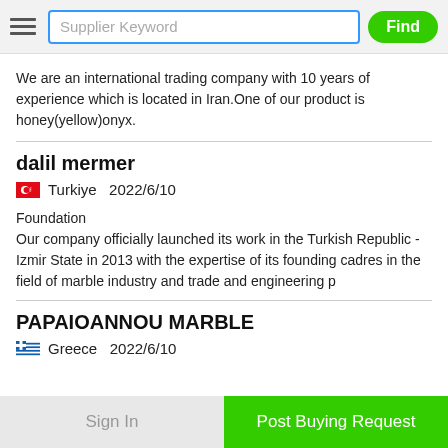Supplier Keyword | Find
We are an international trading company with 10 years of experience which is located in Iran.One of our product is honey(yellow)onyx.
dalil mermer
Turkiye   2022/6/10
Foundation
Our company officially launched its work in the Turkish Republic - Izmir State in 2013 with the expertise of its founding cadres in the field of marble industry and trade and engineering p
PAPAIOANNOU MARBLE
Greece   2022/6/10
Sign In | Post Buying Request